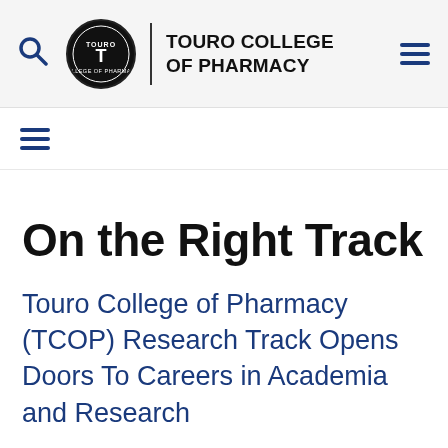TOURO COLLEGE OF PHARMACY
On the Right Track
Touro College of Pharmacy (TCOP) Research Track Opens Doors To Careers in Academia and Research